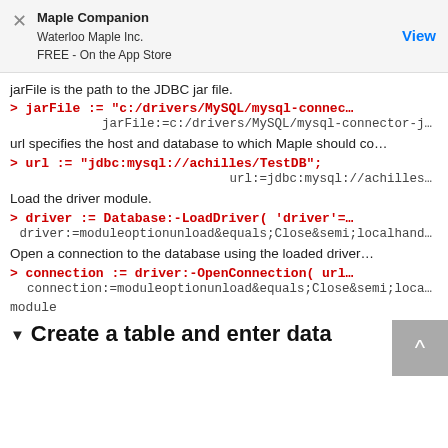Maple Companion
Waterloo Maple Inc.
FREE - On the App Store
View
jarFile is the path to the JDBC jar file.
> jarFile := "c:/drivers/MySQL/mysql-connec…
jarFile:=c:/drivers/MySQL/mysql-connector-j…
url specifies the host and database to which Maple should co…
> url := "jdbc:mysql://achilles/TestDB";
url:=jdbc:mysql://achilles…
Load the driver module.
> driver := Database:-LoadDriver( 'driver'=…
driver:=moduleoptionunload&equals;Close&semi;localhand…
Open a connection to the database using the loaded driver…
> connection := driver:-OpenConnection( url…
connection:=moduleoptionunload&equals;Close&semi;loca… module
Create a table and enter data